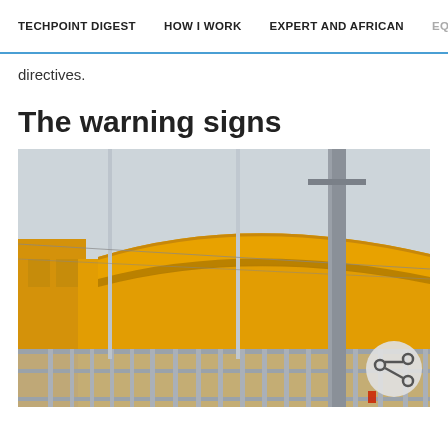TECHPOINT DIGEST   HOW I WORK   EXPERT AND AFRICAN   EQUITY
directives.
The warning signs
[Figure (photo): Exterior photograph of a yellow building with a curved roof canopy, metal flagpoles in the foreground, a concrete utility pole, chain-link fence with vertical bars at the bottom, overcast sky in the background, and a circular share icon in the lower right corner.]